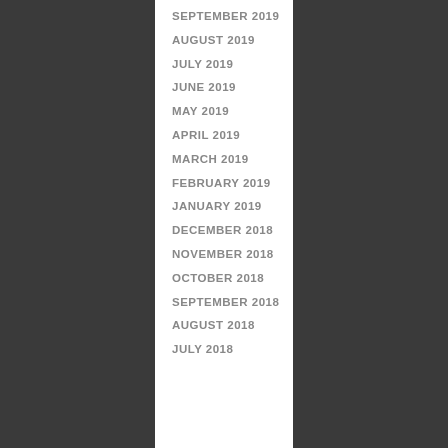SEPTEMBER 2019
AUGUST 2019
JULY 2019
JUNE 2019
MAY 2019
APRIL 2019
MARCH 2019
FEBRUARY 2019
JANUARY 2019
DECEMBER 2018
NOVEMBER 2018
OCTOBER 2018
SEPTEMBER 2018
AUGUST 2018
JULY 2018